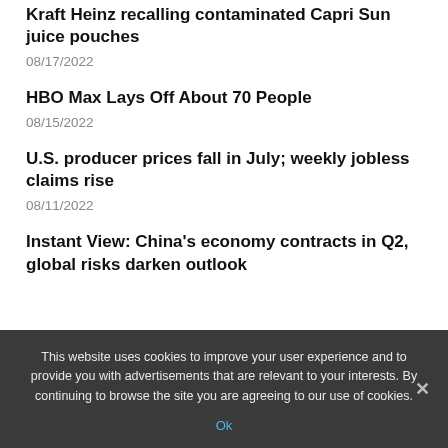Kraft Heinz recalling contaminated Capri Sun juice pouches
08/17/2022
HBO Max Lays Off About 70 People
08/15/2022
U.S. producer prices fall in July; weekly jobless claims rise
08/11/2022
Instant View: China's economy contracts in Q2, global risks darken outlook
This website uses cookies to improve your user experience and to provide you with advertisements that are relevant to your interests. By continuing to browse the site you are agreeing to our use of cookies.
Ok